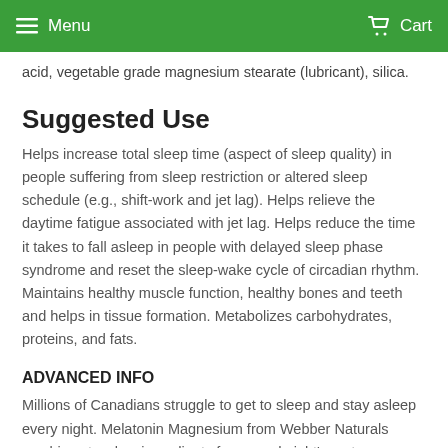Menu  Cart
acid, vegetable grade magnesium stearate (lubricant), silica.
Suggested Use
Helps increase total sleep time (aspect of sleep quality) in people suffering from sleep restriction or altered sleep schedule (e.g., shift-work and jet lag). Helps relieve the daytime fatigue associated with jet lag. Helps reduce the time it takes to fall asleep in people with delayed sleep phase syndrome and reset the sleep-wake cycle of circadian rhythm. Maintains healthy muscle function, healthy bones and teeth and helps in tissue formation. Metabolizes carbohydrates, proteins, and fats.
ADVANCED INFO
Millions of Canadians struggle to get to sleep and stay asleep every night. Melatonin Magnesium from Webber Naturals combines two key ingredients for a good night's rest: magnesium to promote relaxation and melatonin to regulate the body's sleep-wake cycle.